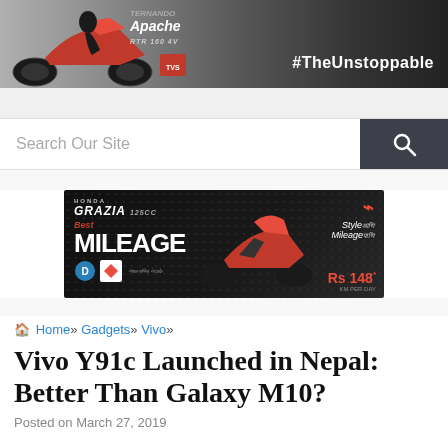[Figure (photo): Apache RTR motorcycle advertisement banner with red bike, gray background, and text '#TheUnstoppable']
Search Our Site
[Figure (photo): Honda Grazia 125cc advertisement: Best MILEAGE, Style aur Mileage paani, Rs 148 per day]
🏠 Home» Gadgets» Vivo»
Vivo Y91c Launched in Nepal: Better Than Galaxy M10?
Posted on March 27, 2019